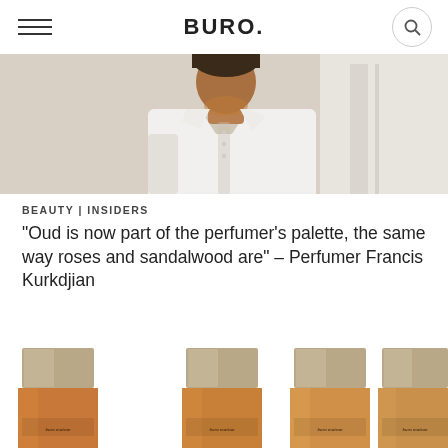BURO.
[Figure (photo): A man wearing a white shirt, photographed from chest up, with a neutral light background.]
BEAUTY | INSIDERS
"Oud is now part of the perfumer's palette, the same way roses and sandalwood are" – Perfumer Francis Kurkdjian
[Figure (photo): Four perfume bottles with gold/taupe caps and amber-colored glass bodies, partially cropped at the bottom of the page. Buro Maison branding visible on labels.]